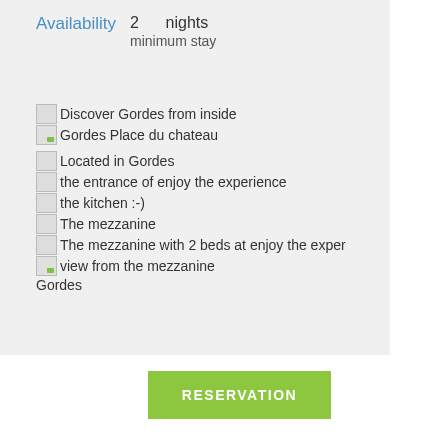Availability
2    nights
minimum stay
Discover Gordes from inside
Gordes Place du chateau
Located in Gordes
the entrance of enjoy the experience
the kitchen :-)
The mezzanine
The mezzanine with 2 beds at enjoy the exper
view from the mezzanine
Gordes
RESERVATION